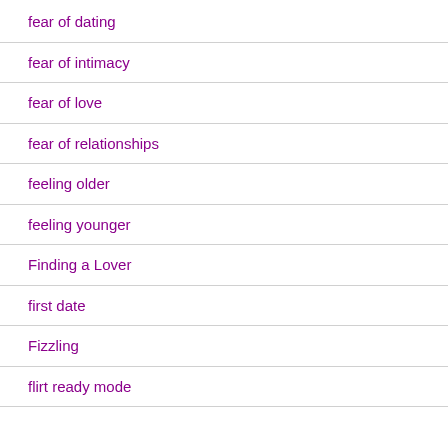fear of dating
fear of intimacy
fear of love
fear of relationships
feeling older
feeling younger
Finding a Lover
first date
Fizzling
flirt ready mode